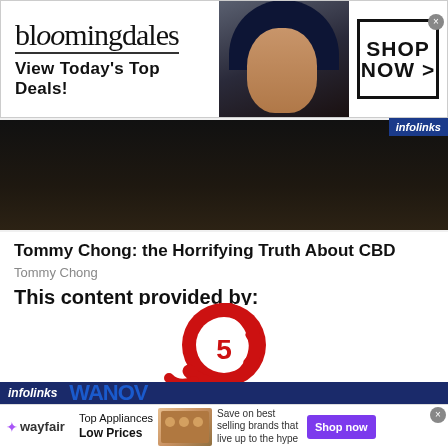[Figure (screenshot): Bloomingdales advertisement banner with logo, 'View Today's Top Deals!' tagline, model photo wearing hat, and 'SHOP NOW >' button]
[Figure (photo): Dark background photo/image strip]
Tommy Chong: the Horrifying Truth About CBD
Tommy Chong
This content provided by:
[Figure (logo): Channel 5 red circular logo with '5' numeral]
[Figure (screenshot): Wayfair advertisement: Top Appliances Low Prices, Save on best selling brands that live up to the hype, Shop now button]